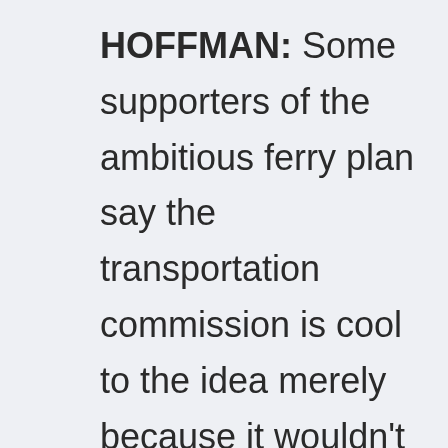HOFFMAN: Some supporters of the ambitious ferry plan say the transportation commission is cool to the idea merely because it wouldn't have control over the system. Whether or not that's true, California's balkanized